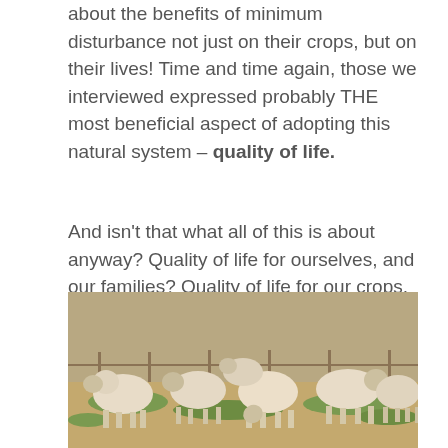about the benefits of minimum disturbance not just on their crops, but on their lives! Time and time again, those we interviewed expressed probably THE most beneficial aspect of adopting this natural system – quality of life.
And isn't that what all of this is about anyway? Quality of life for ourselves, and our families? Quality of life for our crops, our land (present and future) and nature as a whole?
[Figure (photo): A group of shorn sheep (wool recently removed) grazing and milling about on dusty ground with green grass patches, enclosed by a fence in the background.]